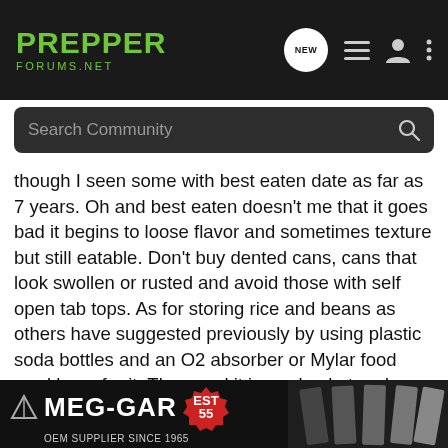PREPPER FORUMS.NET
though I seen some with best eaten date as far as 7 years. Oh and best eaten doesn't me that it goes bad it begins to loose flavor and sometimes texture but still eatable. Don't buy dented cans, cans that look swollen or rusted and avoid those with self open tab tops. As for storing rice and beans as others have suggested previously by using plastic soda bottles and an O2 absorber or Mylar food grad bags for it. Then seal it in a a bucket and store in a cool dry place. I have even vacuum seal a few to see if they last longer than the other methods. However the results will be a while before coming. Another good investment is a Seed Vault with heirloom vegetables/herbs. Heirloom will replenish themselves also since the seeds can be replanted later. If on a tight budget simply buy a bit over time when sh... a bag of dried be... bout 20
[Figure (screenshot): MEG-GAR OEM SUPPLIER SINCE 1965 advertisement banner with logo and magazine images]